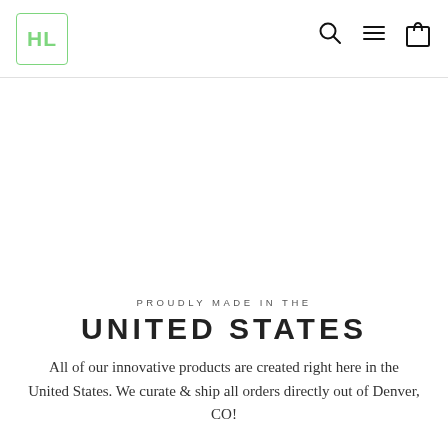[Figure (logo): HL logo in green text inside a rounded green-bordered square box, positioned top-left of the header]
[Figure (other): Navigation icons: search (magnifying glass), menu (three horizontal lines), and shopping bag, positioned top-right of the header]
PROUDLY MADE IN THE
UNITED STATES
All of our innovative products are created right here in the United States. We curate & ship all orders directly out of Denver, CO!